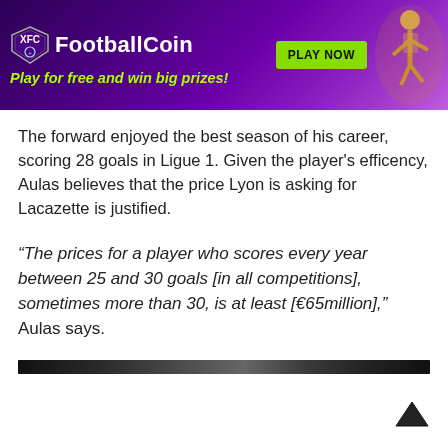[Figure (logo): FootballCoin advertisement banner with purple gradient background, XFC shield logo, 'FootballCoin' text in white, tagline 'Play for free and win big prizes!' in yellow-green, a green 'PLAY NOW' button, and a football player illustration on the right]
The forward enjoyed the best season of his career, scoring 28 goals in Ligue 1. Given the player's efficency, Aulas believes that the price Lyon is asking for Lacazette is justified.
“The prices for a player who scores every year between 25 and 30 goals [in all competitions], sometimes more than 30, is at least [€65million],” Aulas says.
[Figure (other): Dark blurred horizontal bar]
[Figure (other): Upward pointing chevron/arrow scroll indicator at bottom right]